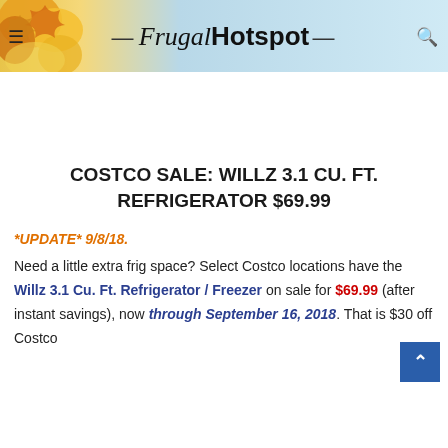Frugal Hotspot
COSTCO SALE: WILLZ 3.1 CU. FT. REFRIGERATOR $69.99
*UPDATE* 9/8/18.
Need a little extra frig space? Select Costco locations have the Willz 3.1 Cu. Ft. Refrigerator / Freezer on sale for $69.99 (after instant savings), now through September 16, 2018. That is $30 off Costco regular price of $99.99. While supplies last. Prime members anticipating...